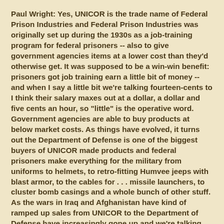Paul Wright: Yes, UNICOR is the trade name of Federal Prison Industries and Federal Prison Industries was originally set up during the 1930s as a job-training program for federal prisoners -- also to give government agencies items at a lower cost than they'd otherwise get. It was supposed to be a win-win benefit: prisoners got job training earn a little bit of money -- and when I say a little bit we're talking fourteen-cents to I think their salary maxes out at a dollar, a dollar and five cents an hour, so "little" is the operative word. Government agencies are able to buy products at below market costs. As things have evolved, it turns out the Department of Defense is one of the biggest buyers of UNICOR made products and federal prisoners make everything for the military from uniforms to helmets, to retro-fitting Humvee jeeps with blast armor, to the cables for . . . missile launchers, to cluster bomb casings and a whole bunch of other stuff. As the wars in Iraq and Afghanistan have kind of ramped up sales from UNICOR to the Department of Defense have increasingly gone up and we're talking 700, 800 million dollars a year in sales of items made by federal prisoners to the Department of